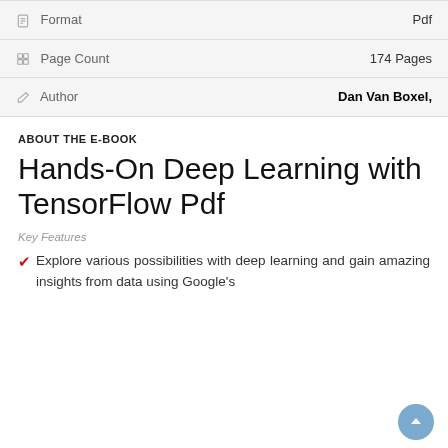| Format | Pdf |
| Page Count | 174 Pages |
| Author | Dan Van Boxel, |
ABOUT THE E-BOOK
Hands-On Deep Learning with TensorFlow Pdf
Key Features
Explore various possibilities with deep learning and gain amazing insights from data using Google's